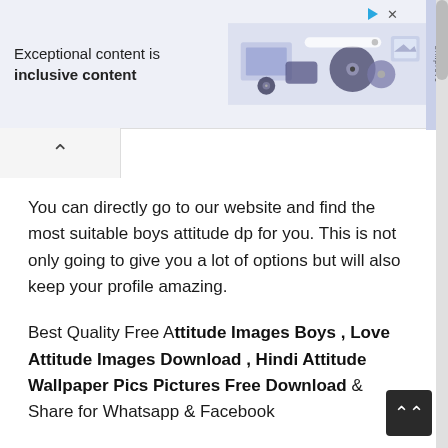[Figure (screenshot): Advertisement banner with text 'Exceptional content is inclusive content' and colorful digital media icons/graphics on a light blue-grey background with a sidebar label 'bimprove']
You can directly go to our website and find the most suitable boys attitude dp for you. This is not only going to give you a lot of options but will also keep your profile amazing.
Best Quality Free Attitude Images Boys , Love Attitude Images Download , Hindi Attitude Wallpaper Pics Pictures Free Download & Share for Whatsapp & Facebook